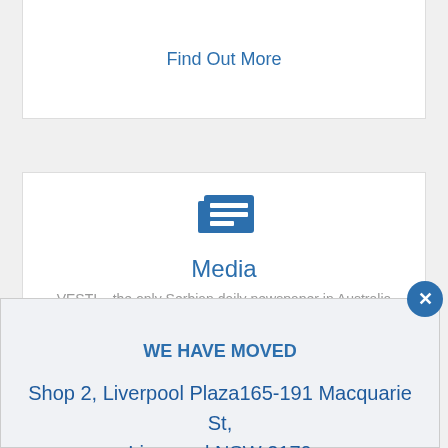Find Out More
[Figure (illustration): Newspaper icon — blue rectangle with horizontal text lines]
Media
VESTI – the only Serbian daily newspaper in Australia
WE HAVE MOVED
Shop 2, Liverpool Plaza165-191 Macquarie St, Liverpool NSW 2170
Latest Offers